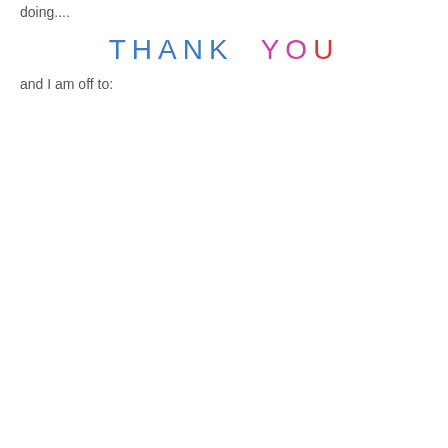doing....
THANK YOU
and I am off to: